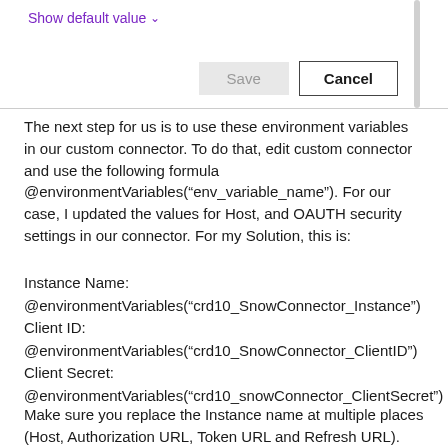[Figure (screenshot): UI panel showing 'Show default value' link in purple with a chevron, a vertical scrollbar on the right, and two buttons at the bottom: a greyed-out Save button and a Cancel button with black border.]
The next step for us is to use these environment variables in our custom connector. To do that, edit custom connector and use the following formula @environmentVariables(“env_variable_name”). For our case, I updated the values for Host, and OAUTH security settings in our connector. For my Solution, this is:
Instance Name:
@environmentVariables(“crd10_SnowConnector_Instance”)
Client ID:
@environmentVariables(“crd10_SnowConnector_ClientID”)
Client Secret:
@environmentVariables(“crd10_snowConnector_ClientSecret”)
Make sure you replace the Instance name at multiple places (Host, Authorization URL, Token URL and Refresh URL). The